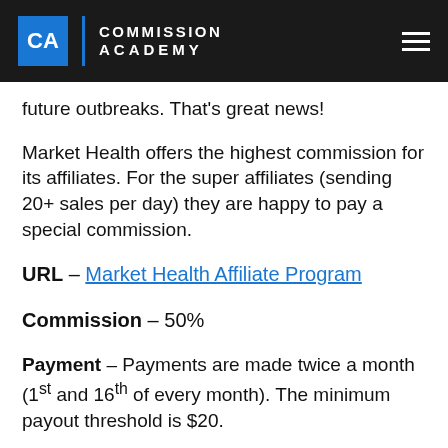CA | COMMISSION ACADEMY
future outbreaks. That's great news!
Market Health offers the highest commission for its affiliates. For the super affiliates (sending 20+ sales per day) they are happy to pay a special commission.
URL – Market Health Affiliate Program
Commission – 50%
Payment – Payments are made twice a month (1st and 16th of every month). The minimum payout threshold is $20.